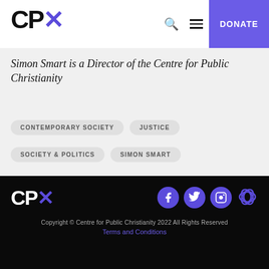CPX — DONATE
Simon Smart is a Director of the Centre for Public Christianity
CONTEMPORARY SOCIETY
JUSTICE
SOCIETY & POLITICS
SIMON SMART
CPX — Copyright © Centre for Public Christianity 2022 All Rights Reserved — Terms and Conditions